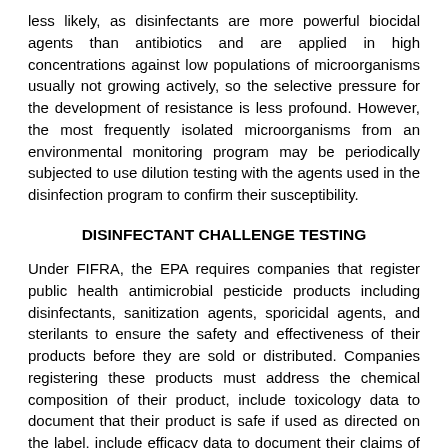less likely, as disinfectants are more powerful biocidal agents than antibiotics and are applied in high concentrations against low populations of microorganisms usually not growing actively, so the selective pressure for the development of resistance is less profound. However, the most frequently isolated microorganisms from an environmental monitoring program may be periodically subjected to use dilution testing with the agents used in the disinfection program to confirm their susceptibility.
DISINFECTANT CHALLENGE TESTING
Under FIFRA, the EPA requires companies that register public health antimicrobial pesticide products including disinfectants, sanitization agents, sporicidal agents, and sterilants to ensure the safety and effectiveness of their products before they are sold or distributed. Companies registering these products must address the chemical composition of their product, include toxicology data to document that their product is safe if used as directed on the label, include efficacy data to document their claims of effectiveness against specific organisms and to support the directions for use provided in the labeling, and provide labeling that reflects the required elements for safe and effective use. While these directions provide valuable information, they may not be helpful in terms of the products' use as disinfectants in a manufacturing environment.